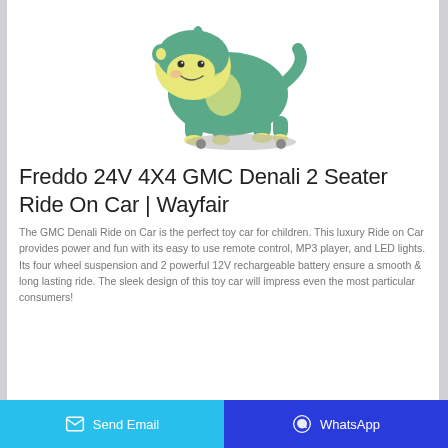[Figure (photo): Green plush stuffed animal toy shaped like a dinosaur/monkey character with yellow accents, sitting on a base with wheels — a children's ride-on toy product photo on white background]
Freddo 24V 4X4 GMC Denali 2 Seater Ride On Car | Wayfair
The GMC Denali Ride on Car is the perfect toy car for children. This luxury Ride on Car provides power and fun with its easy to use remote control, MP3 player, and LED lights. Its four wheel suspension and 2 powerful 12V rechargeable battery ensure a smooth & long lasting ride. The sleek design of this toy car will impress even the most particular consumers!